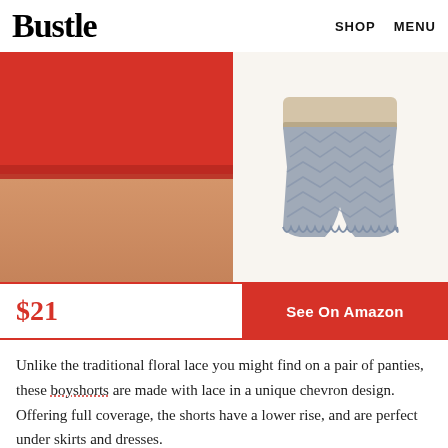Bustle   SHOP   MENU
[Figure (photo): Left: close-up of person wearing red lace boyshort underwear on skin-tone legs. Right: gray/blue lace boyshort shorts laid flat with beige lace waistband on white background.]
$21   See On Amazon
Unlike the traditional floral lace you might find on a pair of panties, these boyshorts are made with lace in a unique chevron design. Offering full coverage, the shorts have a lower rise, and are perfect under skirts and dresses.